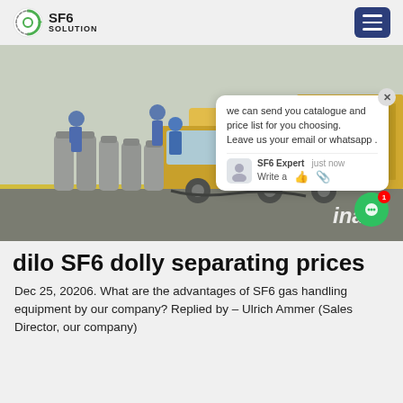SF6 SOLUTION
[Figure (photo): Workers in blue uniforms and helmets handling large grey gas cylinders near a yellow truck/vehicle at an industrial site. A chat popup overlay is visible in the lower-right of the image.]
dilo SF6 dolly separating prices
Dec 25, 20206. What are the advantages of SF6 gas handling equipment by our company? Replied by – Ulrich Ammer (Sales Director, our company)